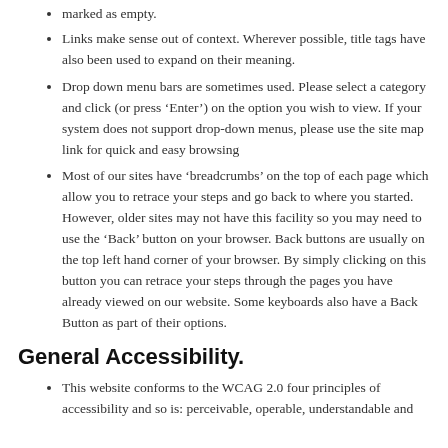marked as empty.
Links make sense out of context. Wherever possible, title tags have also been used to expand on their meaning.
Drop down menu bars are sometimes used. Please select a category and click (or press ‘Enter’) on the option you wish to view. If your system does not support drop-down menus, please use the site map link for quick and easy browsing
Most of our sites have ‘breadcrumbs’ on the top of each page which allow you to retrace your steps and go back to where you started. However, older sites may not have this facility so you may need to use the ‘Back’ button on your browser. Back buttons are usually on the top left hand corner of your browser. By simply clicking on this button you can retrace your steps through the pages you have already viewed on our website. Some keyboards also have a Back Button as part of their options.
General Accessibility.
This website conforms to the WCAG 2.0 four principles of accessibility and so is: perceivable, operable, understandable and